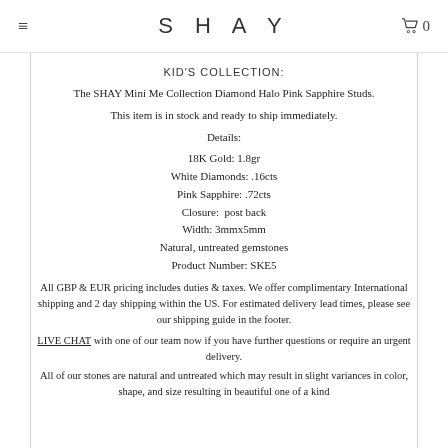SHAY  0
KID'S COLLECTION:
The SHAY Mini Me Collection Diamond Halo Pink Sapphire Studs.
This item is in stock and ready to ship immediately.
Details:
18K Gold: 1.8gr
White Diamonds: .16cts
Pink Sapphire: .72cts
Closure:  post back
Width: 3mmx5mm
Natural, untreated gemstones
Product Number: SKE5
All GBP & EUR pricing includes duties & taxes. We offer complimentary International shipping and 2 day shipping within the US. For estimated delivery lead times, please see our shipping guide in the footer.
LIVE CHAT with one of our team now if you have further questions or require an urgent delivery.
All of our stones are natural and untreated which may result in slight variances in color, shape, and size resulting in beautiful one of a kind